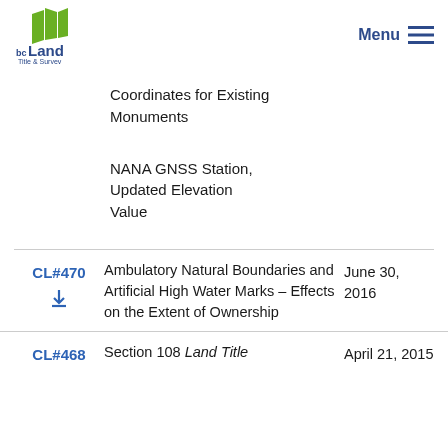bc Land Title & Survey | Menu
Coordinates for Existing Monuments
NANA GNSS Station, Updated Elevation Value
| ID | Title | Date |
| --- | --- | --- |
| CL#470 | Ambulatory Natural Boundaries and Artificial High Water Marks – Effects on the Extent of Ownership | June 30, 2016 |
| CL#468 | Section 108 Land Title | April 21, 2015 |